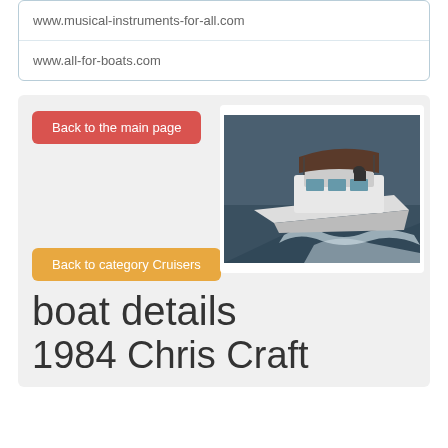www.musical-instruments-for-all.com
www.all-for-boats.com
Back to the main page
[Figure (photo): A white motor cruiser boat speeding across dark water, aerial view, with a bimini top.]
Back to category Cruisers
boat details
1984 Chris Craft